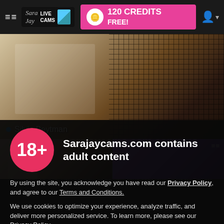≡≡  Sara Jay LIVE CAMS  | 120 CREDITS FREE!
[Figure (photo): Hero image of a woman near a tennis net, with a fishnet pattern on the right side. Name badge reads 'Silvia Beytman' with a blue dot.]
[Figure (photo): Two thumbnail images: left shows a person near a wall painting, right shows a person in a purple-lit room. Each has a hamburger menu icon.]
Sarajaycams.com contains adult content
By using the site, you acknowledge you have read our Privacy Policy, and agree to our Terms and Conditions.
We use cookies to optimize your experience, analyze traffic, and deliver more personalized service. To learn more, please see our Privacy Policy.
I AGREE